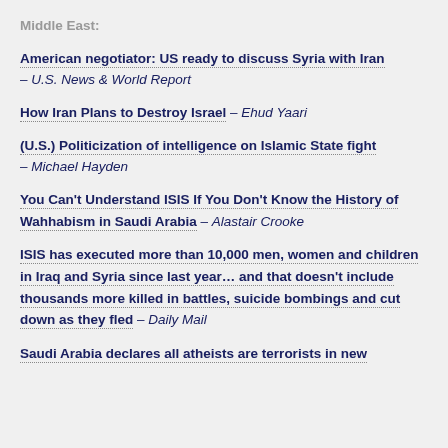Middle East:
American negotiator: US ready to discuss Syria with Iran – U.S. News & World Report
How Iran Plans to Destroy Israel – Ehud Yaari
(U.S.) Politicization of intelligence on Islamic State fight – Michael Hayden
You Can't Understand ISIS If You Don't Know the History of Wahhabism in Saudi Arabia – Alastair Crooke
ISIS has executed more than 10,000 men, women and children in Iraq and Syria since last year… and that doesn't include thousands more killed in battles, suicide bombings and cut down as they fled – Daily Mail
Saudi Arabia declares all atheists are terrorists in new